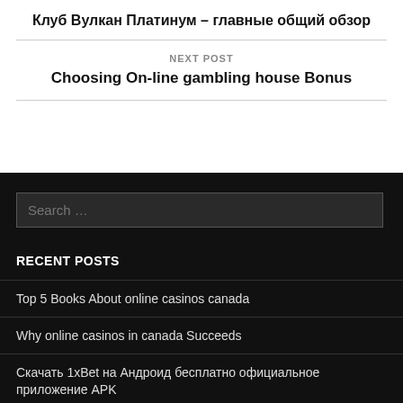Клуб Вулкан Платинум – главные общий обзор
NEXT POST
Choosing On-line gambling house Bonus
Search …
RECENT POSTS
Top 5 Books About online casinos canada
Why online casinos in canada Succeeds
Скачать 1xBet на Андроид бесплатно официальное приложение APK